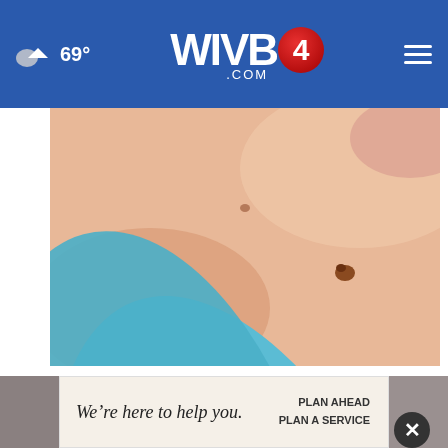69° WIVB4 .COM
[Figure (photo): Close-up photo of skin with a mole/skin tag being treated by gloved hand in blue latex glove]
Doctors Stunned: Mole & Skin Tag Removal Has Never Been Easier (No Surgery)
Healthier Living
[Figure (infographic): Advertisement banner reading: We're here to help you. PLAN AHEAD PLAN A SERVICE]